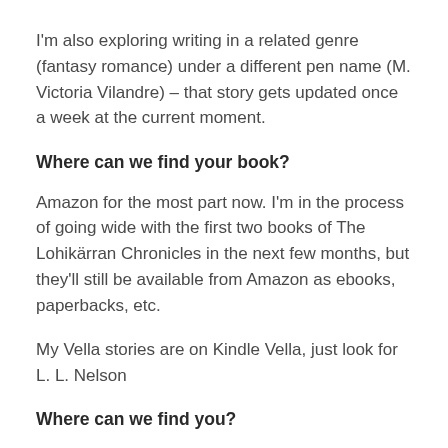I'm also exploring writing in a related genre (fantasy romance) under a different pen name (M. Victoria Vilandre) – that story gets updated once a week at the current moment.
Where can we find your book?
Amazon for the most part now. I'm in the process of going wide with the first two books of The Lohikärran Chronicles in the next few months, but they'll still be available from Amazon as ebooks, paperbacks, etc.
My Vella stories are on Kindle Vella, just look for L. L. Nelson
Where can we find you?